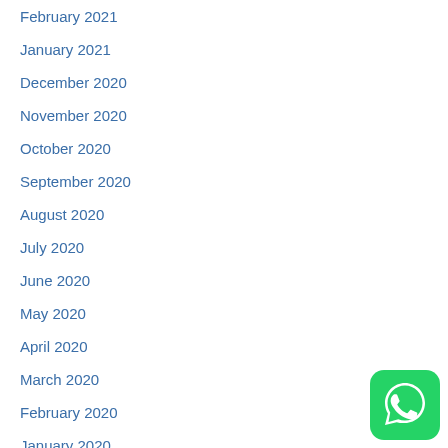February 2021
January 2021
December 2020
November 2020
October 2020
September 2020
August 2020
July 2020
June 2020
May 2020
April 2020
March 2020
February 2020
January 2020
December 2019
November 2019
October 2019
[Figure (logo): WhatsApp icon — green rounded square with white phone/chat bubble logo]